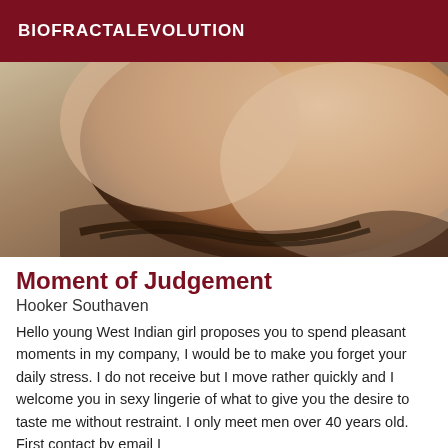BIOFRACTALEVOLUTION
[Figure (photo): Close-up photo of a person's body]
Moment of Judgement
Hooker Southaven
Hello young West Indian girl proposes you to spend pleasant moments in my company, I would be to make you forget your daily stress. I do not receive but I move rather quickly and I welcome you in sexy lingerie of what to give you the desire to taste me without restraint. I only meet men over 40 years old. First contact by email I